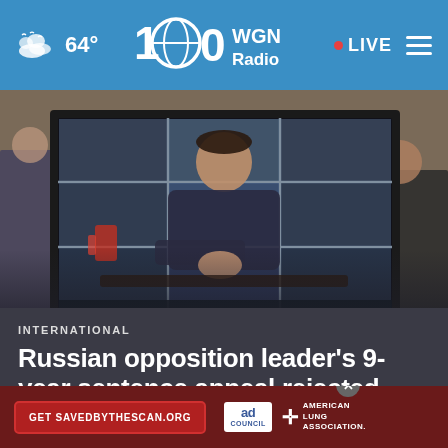64° WGN Radio • LIVE
[Figure (photo): A man visible through a large multi-panel display screen showing a grid of rectangles, apparently in a courtroom setting. People are visible in the background on both sides.]
INTERNATIONAL
Russian opposition leader's 9-year sentence appeal rejected
[Figure (infographic): Advertisement banner: 'Get SAVEDBYTHESCAN.ORG' with Ad Council logo and American Lung Association branding.]